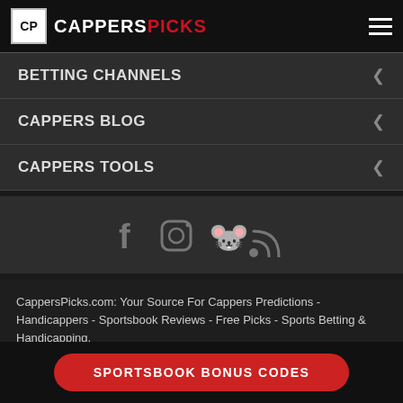CAPPERS PICKS
BETTING CHANNELS
CAPPERS BLOG
CAPPERS TOOLS
[Figure (infographic): Social media icons: Facebook, Instagram, Twitter, RSS]
CappersPicks.com: Your Source For Cappers Predictions - Handicappers - Sportsbook Reviews - Free Picks - Sports Betting & Handicapping.
© 2022 100% Documented Experts! Cappers Picks site is not affiliated with any Scamdicappers. Use of information in violation of federal, state and/or local laws is
SPORTSBOOK BONUS CODES